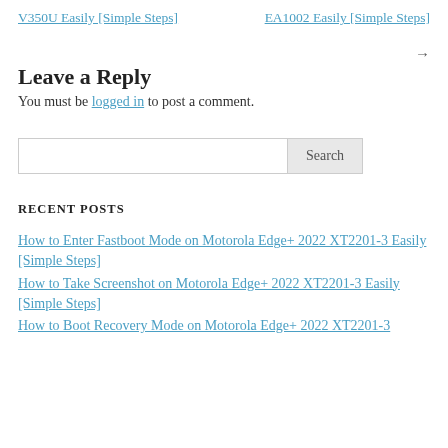V350U Easily [Simple Steps]   EA1002 Easily [Simple Steps]
→
Leave a Reply
You must be logged in to post a comment.
[Figure (screenshot): Search bar with text input and Search button]
RECENT POSTS
How to Enter Fastboot Mode on Motorola Edge+ 2022 XT2201-3 Easily [Simple Steps]
How to Take Screenshot on Motorola Edge+ 2022 XT2201-3 Easily [Simple Steps]
How to Boot Recovery Mode on Motorola Edge+ 2022 XT2201-3 Easily [Simple Steps]